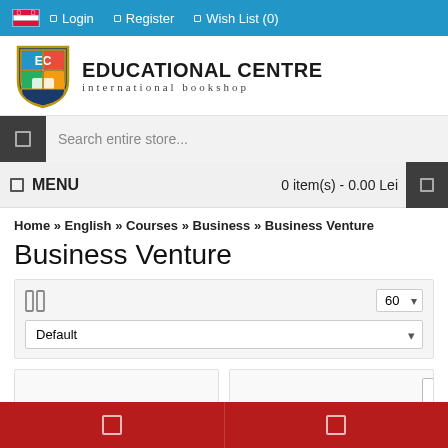Login | Register | Wish List (0)
[Figure (logo): Educational Centre international bookshop logo with shield emblem]
Search entire store...
MENU   0 item(s) - 0.00 Lei
Home » English » Courses » Business » Business Venture
Business Venture
60   Default
[Figure (screenshot): Two product cards with discount badges -40% and -55%]